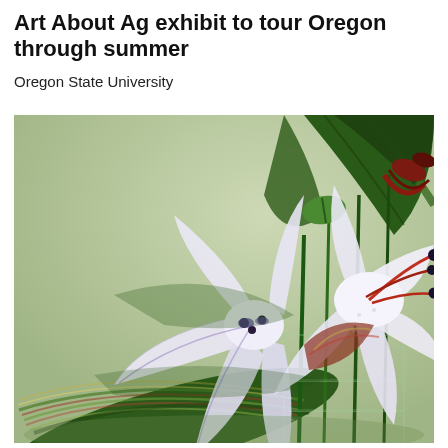Art About Ag exhibit to tour Oregon through summer
Oregon State University
[Figure (illustration): Detailed artistic painting of white and purple lilies with green leaves and stems, set against a soft green background. The flowers are rendered in a precise, realistic illustrative style. A transparent glass vase is partially visible in the lower right area.]